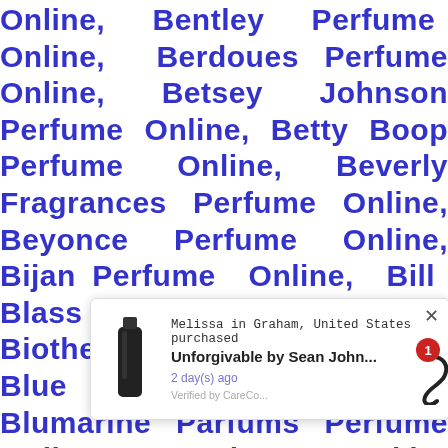Online, Bentley Perfume Online, Berdoues Perfume Online, Betsey Johnson Perfume Online, Betty Boop Perfume Online, Beverly Fragrances Perfume Online, Beyonce Perfume Online, Bijan Perfume Online, Bill Blass Perfume Online, Biotherm Perfume Online, Blue Up Perfume Online, Blumarine Parfums Perfume Online, Bob Mackie Perfume Online, Bodycology Perfume Online, Bogart Perfume Online, Bois 1920 Perfume Online, Bond No. 9 Perfume Online, Botte... ...heron Perfu... ...ne, Brion... ...me Online, Brooks Brothers Perfume Online,
[Figure (infographic): Popup notification showing a product purchase. Image of a dark perfume bottle on the left. Text reads: 'Melissa in Graham, United States purchased' and 'Unforgivable by Sean John...' with '2 day(s) ago' and 'Verified by CareCo...' A red badge with '1' overlaps.]